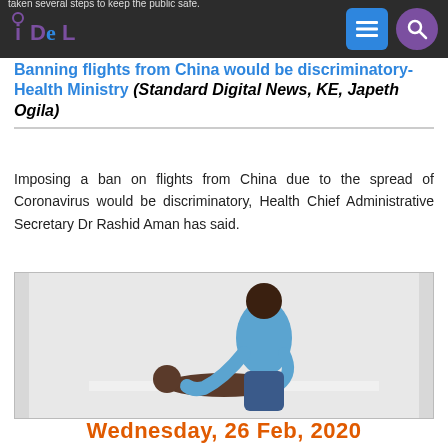taken several steps to keep the public safe.
Banning flights from China would be discriminatory- Health Ministry (Standard Digital News, KE, Japeth Ogila)
Imposing a ban on flights from China due to the spread of Coronavirus would be discriminatory, Health Chief Administrative Secretary Dr Rashid Aman has said.
[Figure (photo): A man in a blue shirt leaning over and tending to a baby lying on a white surface]
Wednesday, 26 Feb, 2020